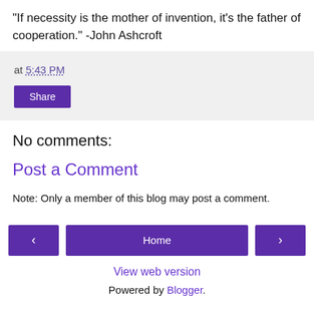"If necessity is the mother of invention, it's the father of cooperation." -John Ashcroft
at 5:43 PM
Share
No comments:
Post a Comment
Note: Only a member of this blog may post a comment.
< Home > View web version Powered by Blogger.